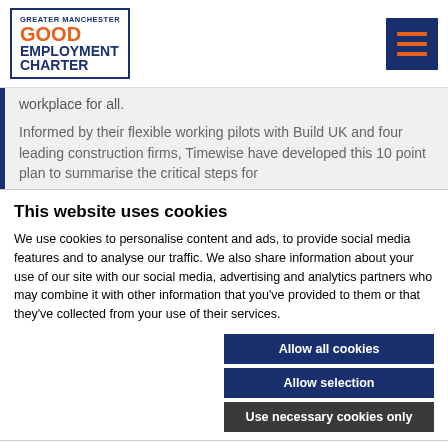[Figure (logo): Greater Manchester Good Employment Charter logo with blue border, orange GOOD text and blue EMPLOYMENT CHARTER text]
workplace for all.
Informed by their flexible working pilots with Build UK and four leading construction firms, Timewise have developed this 10 point plan to summarise the critical steps for
This website uses cookies
We use cookies to personalise content and ads, to provide social media features and to analyse our traffic. We also share information about your use of our site with our social media, advertising and analytics partners who may combine it with other information that you've provided to them or that they've collected from your use of their services.
Allow all cookies
Allow selection
Use necessary cookies only
Necessary  Preferences  Statistics  Marketing  Show details